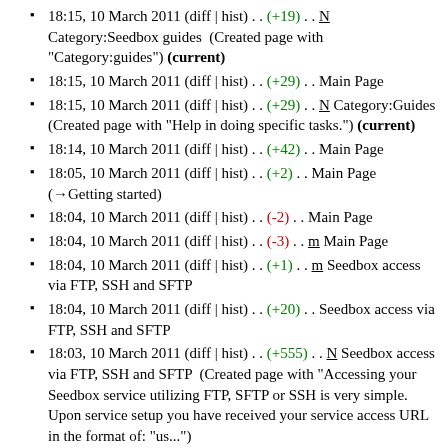18:15, 10 March 2011 (diff | hist) . . (+19) . . N Category:Seedbox guides  (Created page with "Category:guides") (current)
18:15, 10 March 2011 (diff | hist) . . (+29) . . Main Page
18:15, 10 March 2011 (diff | hist) . . (+29) . . N Category:Guides  (Created page with "Help in doing specific tasks.") (current)
18:14, 10 March 2011 (diff | hist) . . (+42) . . Main Page
18:05, 10 March 2011 (diff | hist) . . (+2) . . Main Page (→Getting started)
18:04, 10 March 2011 (diff | hist) . . (-2) . . Main Page
18:04, 10 March 2011 (diff | hist) . . (-3) . . m Main Page
18:04, 10 March 2011 (diff | hist) . . (+1) . . m Seedbox access via FTP, SSH and SFTP
18:04, 10 March 2011 (diff | hist) . . (+20) . . Seedbox access via FTP, SSH and SFTP
18:03, 10 March 2011 (diff | hist) . . (+555) . . N Seedbox access via FTP, SSH and SFTP  (Created page with "Accessing your Seedbox service utilizing FTP, SFTP or SSH is very simple. Upon service setup you have received your service access URL in the format of: "us...")
17:59, 10 March 2011 (diff | hist) . . (-3) . . Main Page
17:59, 10 March 2011 (diff | hist) . . (+10) . . Main Page
17:58, 10 March 2011 (diff | hist) . . (-1) . . Seedbox
17:57, 10 March 2011 (diff | hist) . . (+420) . . Seedbox